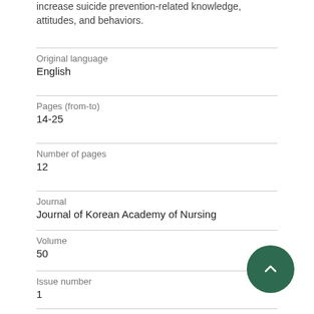increase suicide prevention-related knowledge, attitudes, and behaviors.
Original language
English
Pages (from-to)
14-25
Number of pages
12
Journal
Journal of Korean Academy of Nursing
Volume
50
Issue number
1
State
Published - Feb 2020